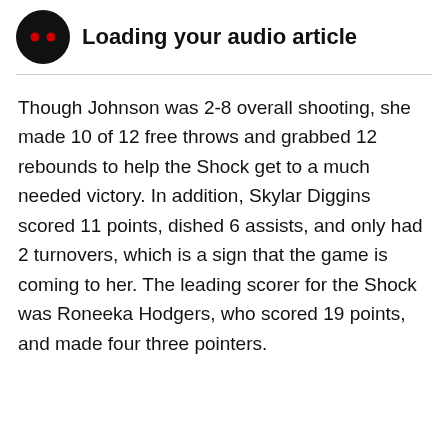[Figure (other): Black circular audio player icon with two red dots, representing a loading audio article player]
Loading your audio article
Though Johnson was 2-8 overall shooting, she made 10 of 12 free throws and grabbed 12 rebounds to help the Shock get to a much needed victory. In addition, Skylar Diggins scored 11 points, dished 6 assists, and only had 2 turnovers, which is a sign that the game is coming to her. The leading scorer for the Shock was Roneeka Hodgers, who scored 19 points, and made four three pointers.